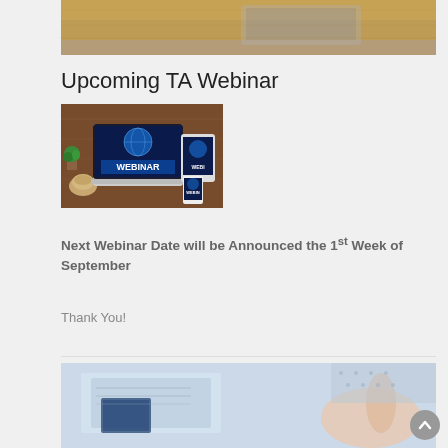[Figure (photo): Top portion of a photo showing a laptop on a wooden desk, cropped at top of page]
Upcoming TA Webinar
[Figure (photo): Photo showing a laptop with 'WEBINAR' text on screen, a tablet and smartphone also showing webinar content, on a wooden table with a coffee cup and plant]
Next Webinar Date will be Announced the 1st Week of September
Thank You!
[Figure (photo): Bottom photo showing hands and documents/maps on a table, partially visible at bottom of page]